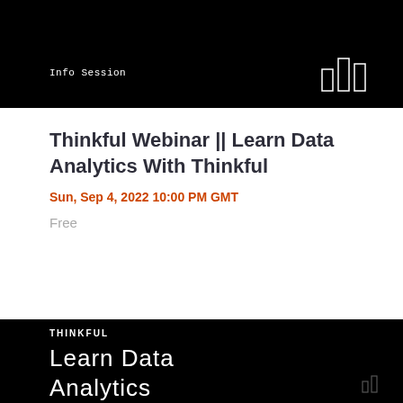Info Session
Thinkful Webinar || Learn Data Analytics With Thinkful
Sun, Sep 4, 2022 10:00 PM GMT
Free
[Figure (screenshot): Thinkful branded dark background with white text reading 'Learn Data Analytics With Thinkful' and 'THINKFUL' logo at top]